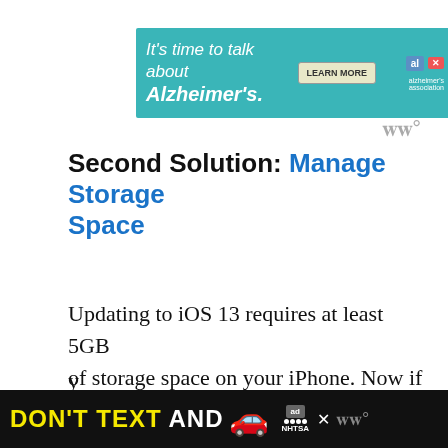[Figure (other): Alzheimer's Association advertisement banner: teal background with italic text 'It's time to talk about Alzheimer's.' and a LEARN MORE button, logo on the right with a close X button]
Second Solution: Manage Storage Space
Updating to iOS 13 requires at least 5GB of storage space on your iPhone. Now if
[Figure (other): NHTSA 'DON'T TEXT AND DRIVE' advertisement banner at the bottom with a car emoji, NHTSA logo, close button and watermark]